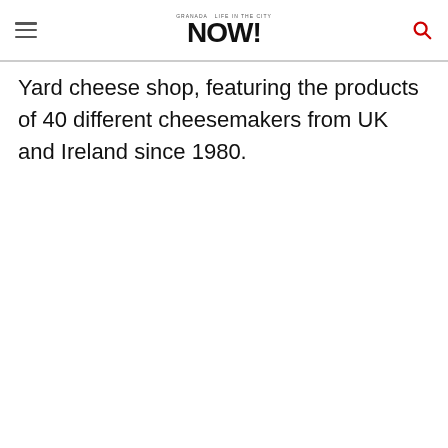NOW! (logo with tagline and search icon)
Yard cheese shop, featuring the products of 40 different cheesemakers from UK and Ireland since 1980.